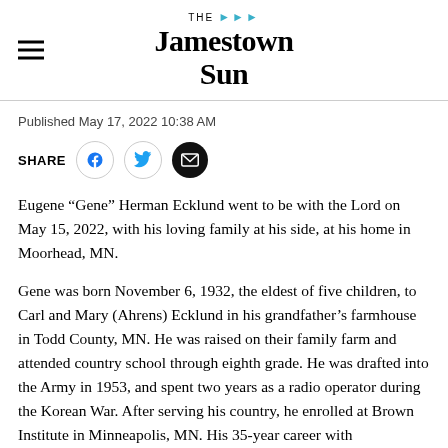The Jamestown Sun
Published May 17, 2022 10:38 AM
[Figure (other): Share buttons row: SHARE label followed by Facebook, Twitter, and Email icon buttons]
Eugene “Gene” Herman Ecklund went to be with the Lord on May 15, 2022, with his loving family at his side, at his home in Moorhead, MN.
Gene was born November 6, 1932, the eldest of five children, to Carl and Mary (Ahrens) Ecklund in his grandfather’s farmhouse in Todd County, MN. He was raised on their family farm and attended country school through eighth grade. He was drafted into the Army in 1953, and spent two years as a radio operator during the Korean War. After serving his country, he enrolled at Brown Institute in Minneapolis, MN. His 35-year career with Northwestern Bell Telephone Company began in 1955 in